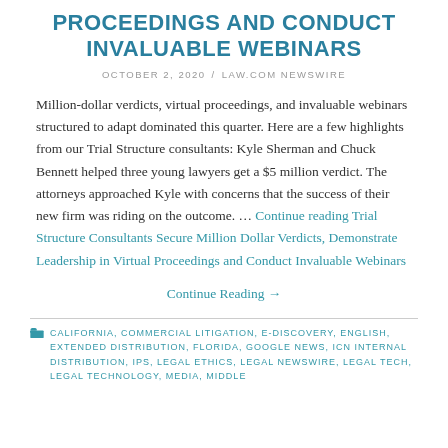PROCEEDINGS AND CONDUCT INVALUABLE WEBINARS
OCTOBER 2, 2020 / LAW.COM NEWSWIRE
Million-dollar verdicts, virtual proceedings, and invaluable webinars structured to adapt dominated this quarter. Here are a few highlights from our Trial Structure consultants: Kyle Sherman and Chuck Bennett helped three young lawyers get a $5 million verdict. The attorneys approached Kyle with concerns that the success of their new firm was riding on the outcome. … Continue reading Trial Structure Consultants Secure Million Dollar Verdicts, Demonstrate Leadership in Virtual Proceedings and Conduct Invaluable Webinars
Continue Reading →
CALIFORNIA, COMMERCIAL LITIGATION, E-DISCOVERY, ENGLISH, EXTENDED DISTRIBUTION, FLORIDA, GOOGLE NEWS, ICN INTERNAL DISTRIBUTION, IPS, LEGAL ETHICS, LEGAL NEWSWIRE, LEGAL TECH, LEGAL TECHNOLOGY, MEDIA, MIDDLE